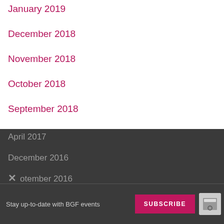January 2019
December 2018
November 2018
October 2018
September 2018
July 2018
June 2018
May 2018
April 2018
March 2018
February 2018
January 2018
December 2017
November 2017
May 2017
April 2017
December 2016
September 2016
August 2016
Stay up-to-date with BGF events
SUBSCRIBE